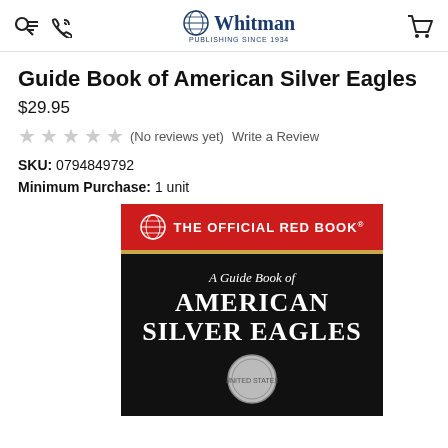Whitman Publishing Since 1934
Guide Book of American Silver Eagles
$29.95
(No reviews yet)  Write a Review
SKU: 0794849792
Minimum Purchase: 1 unit
[Figure (photo): Book cover of 'A Guide Book of American Silver Eagles' from The Official Red Book series. Red banner at top with globe logo and text 'THE OFFICIAL RED BOOK'. Black background with white serif text reading 'A Guide Book of AMERICAN SILVER EAGLES' and a coin emblem at the bottom.]